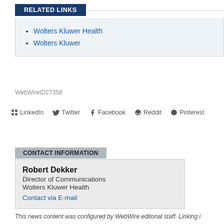RELATED LINKS
Wolters Kluwer Health
Wolters Kluwer
WebWireID27358
LinkedIn  Twitter  Facebook  Reddit  Pinterest
CONTACT INFORMATION
Robert Dekker
Director of Communications
Wolters Kluwer Health
Contact via E-mail
This news content was configured by WebWire editorial staff. Linking i